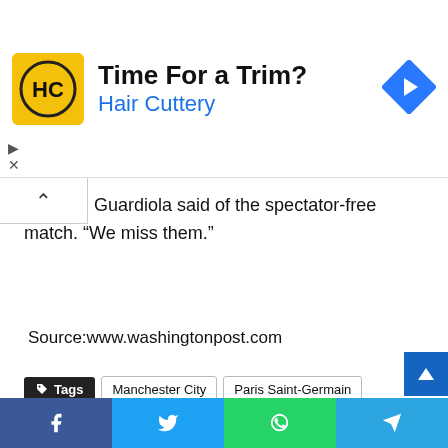[Figure (infographic): Advertisement banner for Hair Cuttery: yellow square logo with HC initials, 'Time For a Trim?' headline, 'Hair Cuttery' subtitle in blue, blue diamond navigation icon on right. Small close/skip arrows on left.]
Guardiola said of the spectator-free match. “We miss them.”
Source:www.washingtonpost.com
Tags  Manchester City  Paris Saint-Germain  UEFA Champions League
[Figure (infographic): Social share buttons row: Facebook (blue), Twitter (light blue), Skype (blue), WhatsApp (green), Telegram (blue), Email (dark), Print (dark gray)]
[Figure (infographic): Bottom social share bar with Facebook, Twitter, WhatsApp, and Telegram buttons]